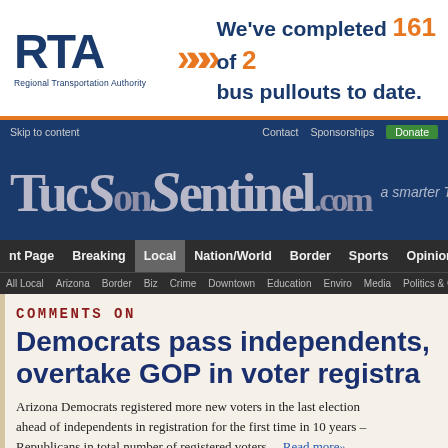[Figure (other): RTA Regional Transportation Authority advertisement banner: logo with 'RTA' in dark blue, orange arrows, text 'We've completed 161 of 2[xx] bus pullouts to date.']
Skip to content   Contact   Sponsorships   Donate
[Figure (logo): TucsonSentinel.com masthead logo in weathered serif font on dark blue background with tagline 'a smarter Tucson']
nt Page  Breaking  Local  Nation/World  Border  Sports  Opinion
All Local  Arizona  Border  Biz  Crime  Downtown  Education  Enviro  Media  Politics & Go
Comments on
Democrats pass independents, overtake GOP in voter registra
Arizona Democrats registered more new voters in the last election ahead of independents in registration for the first time in 10 years – Republicans in total number of registered voters....  Read more»